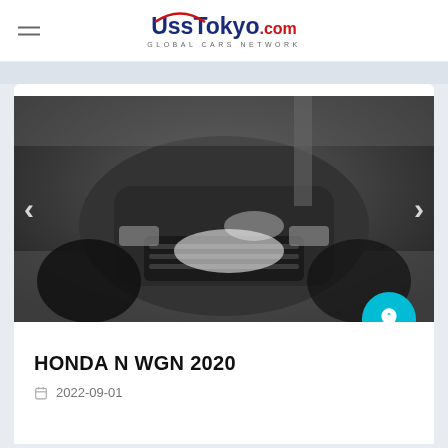USS TOKYO.com GLOBAL CARS NETWORK
[Figure (photo): Front view of a Honda N WGN 2020, dark colored vehicle photographed from above front angle in a parking/auction setting, grayscale/dark image]
HONDA N WGN 2020
2022-09-01